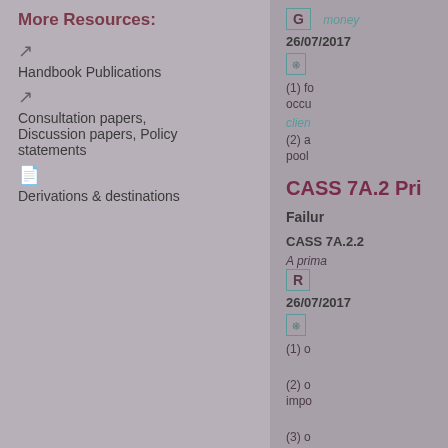More Resources:
[icon] Handbook Publications
[icon] Consultation papers, Discussion papers, Policy statements
[icon] Derivations & destinations
G  money  26/07/2017  [stack icon]  (1) fo occu clien  (2) a pool
CASS 7A.2 Pri
Failur
CASS 7A.2.2  A prima  R  26/07/2017  [stack icon]  (1) o  (2) o impo  (3) o